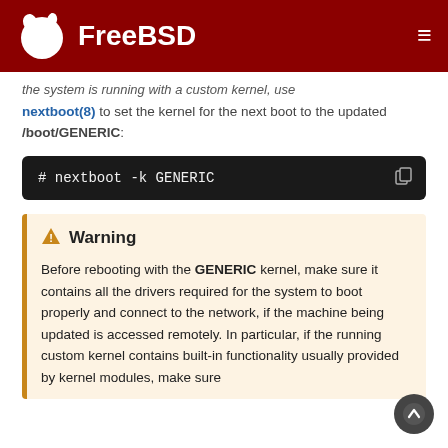FreeBSD
the system is running with a custom kernel, use nextboot(8) to set the kernel for the next boot to the updated /boot/GENERIC:
[Figure (screenshot): Dark code block showing command: # nextboot -k GENERIC]
Warning
Before rebooting with the GENERIC kernel, make sure it contains all the drivers required for the system to boot properly and connect to the network, if the machine being updated is accessed remotely. In particular, if the running custom kernel contains built-in functionality usually provided by kernel modules, make sure